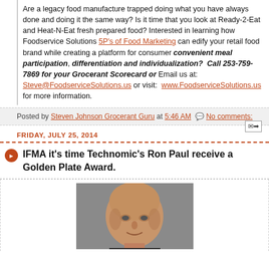Are a legacy food manufacture trapped doing what you have always done and doing it the same way? Is it time that you look at Ready-2-Eat and Heat-N-Eat fresh prepared food? Interested in learning how Foodservice Solutions 5P's of Food Marketing can edify your retail food brand while creating a platform for consumer convenient meal participation, differentiation and individualization? Call 253-759-7869 for your Grocerant Scorecard or Email us at: Steve@FoodserviceSolutions.us or visit: www.FoodserviceSolutions.us for more information.
Posted by Steven Johnson Grocerant Guru at 5:46 AM   No comments:
FRIDAY, JULY 25, 2014
IFMA it's time Technomic's Ron Paul receive a Golden Plate Award.
[Figure (photo): Headshot photo of a bald man against a grey background]